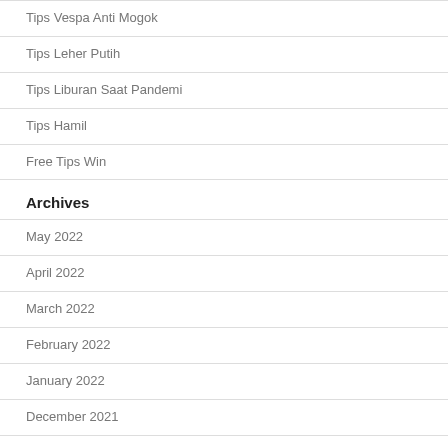Tips Vespa Anti Mogok
Tips Leher Putih
Tips Liburan Saat Pandemi
Tips Hamil
Free Tips Win
Archives
May 2022
April 2022
March 2022
February 2022
January 2022
December 2021
November 2021
October 2021